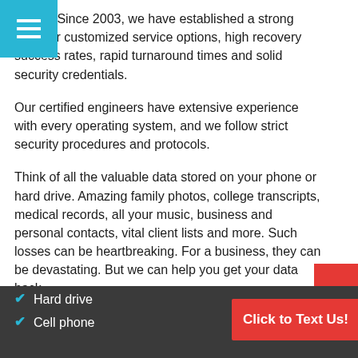...naged. Since 2003, we have established a strong ation for customized service options, high recovery success rates, rapid turnaround times and solid security credentials.
Our certified engineers have extensive experience with every operating system, and we follow strict security procedures and protocols.
Think of all the valuable data stored on your phone or hard drive. Amazing family photos, college transcripts, medical records, all your music, business and personal contacts, vital client lists and more. Such losses can be heartbreaking. For a business, they can be devastating. But we can help you get your data back.
Our certified digital experts can repair, recover and restore data from a wide variety of digital media:
Hard drive
Cell phone